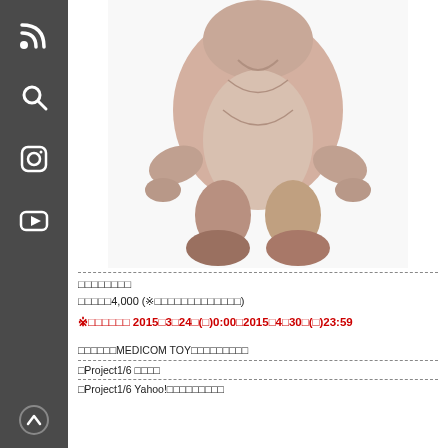[Figure (photo): 3D rendered or sculpted toy figure of a creature viewed from behind/front-low angle, showing muscular back, short arms, and large feet, with pinkish-brown skin tones on a white background]
□□□□□□□□
□□□□□4,000 (※□□□□□□□□□□□□□)
※□□□□□□ 2015□3□24□(□)0:00□2015□4□30□(□)23:59
□□□□□□MEDICOM TOY□□□□□□□□□
□Project1/6 □□□□
□Project1/6 Yahoo!□□□□□□□□□